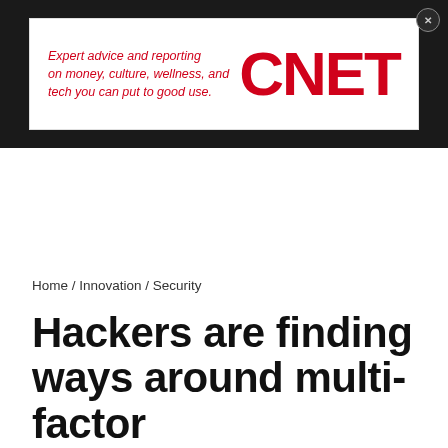[Figure (logo): CNET advertisement banner with dark background, white inner box, red italic text 'Expert advice and reporting on money, culture, wellness, and tech you can put to good use.' and red CNET logo]
Home / Innovation / Security
Hackers are finding ways around multi-factor authentication. Here's what to watch for